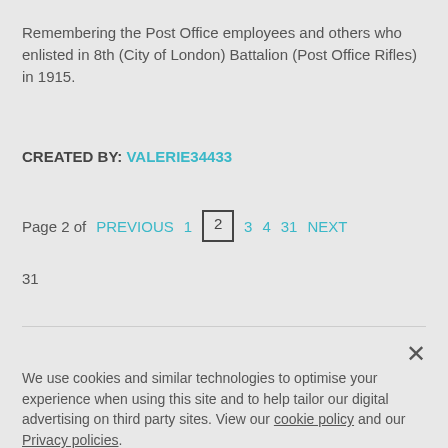Remembering the Post Office employees and others who enlisted in 8th (City of London) Battalion (Post Office Rifles) in 1915.
CREATED BY: VALERIE34433
Page 2 of PREVIOUS 1 2 3 4 31 NEXT 31
We use cookies and similar technologies to optimise your experience when using this site and to help tailor our digital advertising on third party sites. View our cookie policy and our Privacy policies.